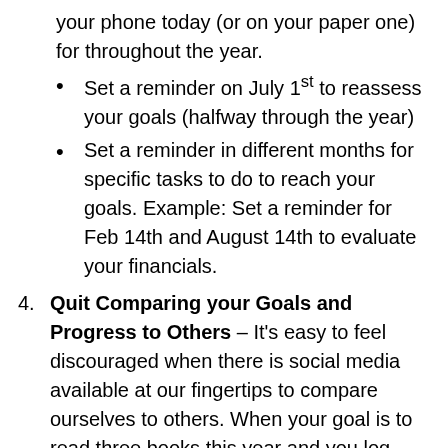your phone today (or on your paper one) for throughout the year.
Set a reminder on July 1st to reassess your goals (halfway through the year)
Set a reminder in different months for specific tasks to do to reach your goals. Example: Set a reminder for Feb 14th and August 14th to evaluate your financials.
Quit Comparing your Goals and Progress to Others – It's easy to feel discouraged when there is social media available at our fingertips to compare ourselves to others. When your goal is to read three books this year and you log onto social media to see someone say they read three books a month, this can be discouraging. Your journey is your own and it is silly to compare to other peoples goals